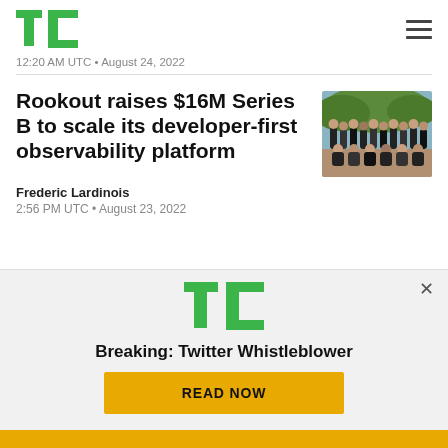TechCrunch logo and navigation
12:20 AM UTC • August 24, 2022
Rookout raises $16M Series B to scale its developer-first observability platform
[Figure (photo): Group photo of Rookout team members outdoors]
Frederic Lardinois
2:56 PM UTC • August 23, 2022
[Figure (logo): TechCrunch TC logo in green]
Breaking: Twitter Whistleblower
READ NOW